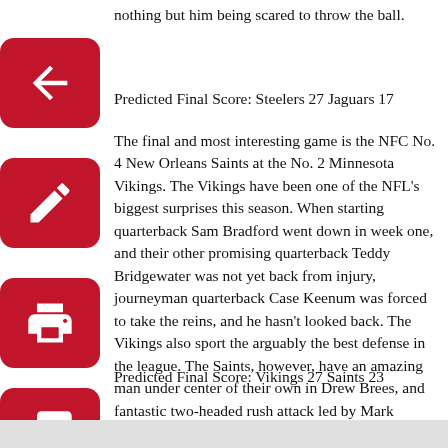nothing but him being scared to throw the ball.
Predicted Final Score: Steelers 27 Jaguars 17
The final and most interesting game is the NFC No. 4 New Orleans Saints at the No. 2 Minnesota Vikings. The Vikings have been one of the NFL's biggest surprises this season. When starting quarterback Sam Bradford went down in week one, and their other promising quarterback Teddy Bridgewater was not yet back from injury, journeyman quarterback Case Keenum was forced to take the reins, and he hasn't looked back. The Vikings also sport the arguably the best defense in the league. The Saints, however, have an amazing man under center of their own in Drew Brees, and fantastic two-headed rush attack led by Mark Ingram and Alvin Kamara, and a good defense. This will be a close one, but I think that the Vikings defense will be the deciding factor.
Predicted Final Score: Vikings 27 Saints 23